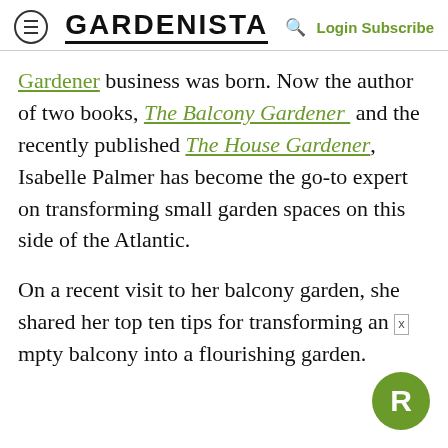GARDENISTA  Login Subscribe
Gardener business was born. Now the author of two books, The Balcony Gardener and the recently published The House Gardener, Isabelle Palmer has become the go-to expert on transforming small garden spaces on this side of the Atlantic.

On a recent visit to her balcony garden, she shared her top ten tips for transforming an empty balcony into a flourishing garden.